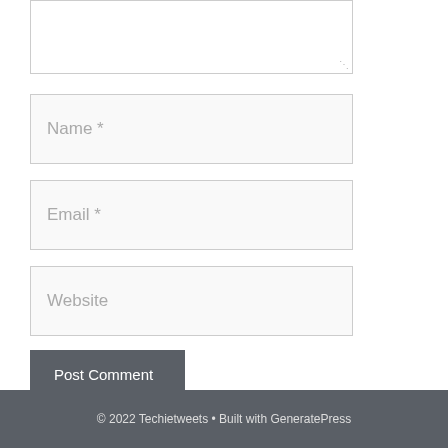[Figure (screenshot): Partial textarea input box at the top of the page, showing resize handle at bottom-right corner]
Name *
Email *
Website
Post Comment
© 2022 Techietweets • Built with GeneratePress